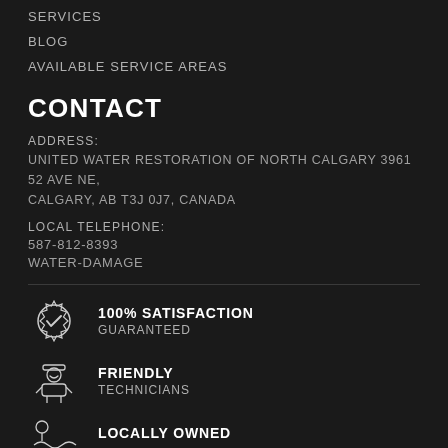SERVICES
BLOG
AVAILABLE SERVICE AREAS
CONTACT
ADDRESS:
UNITED WATER RESTORATION OF NORTH CALGARY 3961 52 AVE NE, CALGARY, AB T3J 0J7, CANADA
LOCAL TELEPHONE:
587-812-8393
WATER-DAMAGE
[Figure (illustration): Badge icon with checkmark]
100% SATISFACTION
GUARANTEED
[Figure (illustration): Friendly technician icon]
FRIENDLY
TECHNICIANS
[Figure (illustration): Locally owned icon with map pin]
LOCALLY OWNED